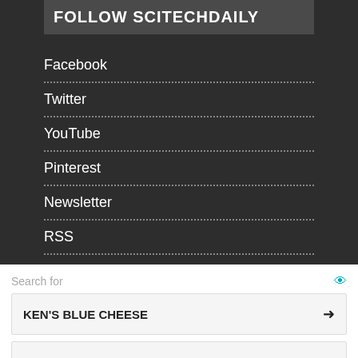FOLLOW SCITECHDAILY
Facebook
Twitter
YouTube
Pinterest
Newsletter
RSS
Search for
KEN'S BLUE CHEESE →
BLUE CHEESE SAUCE RECIPE →
Yahoo! Search | Sponsored